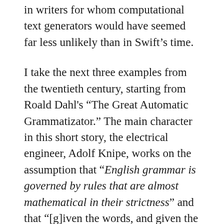in writers for whom computational text generators would have seemed far less unlikely than in Swift's time.
I take the next three examples from the twentieth century, starting from Roald Dahl's "The Great Automatic Grammatizator." The main character in this short story, the electrical engineer, Adolf Knipe, works on the assumption that "English grammar is governed by rules that are almost mathematical in their strictness" and that "[g]iven the words, and given the sense of what is to be said, then there is only one correct order in which those words can be arranged" (Dahl 2001, 7). He then comes to the realization, triumphantly,